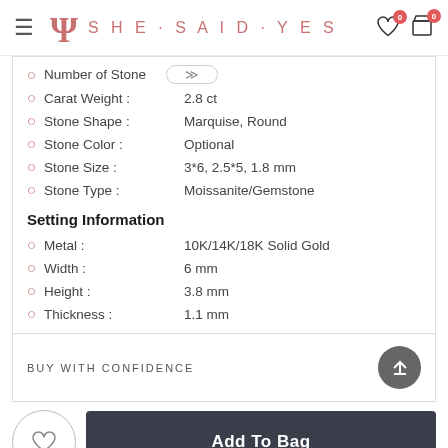SHE·SAID·YES
Number of Stones
Carat Weight : 2.8 ct
Stone Shape : Marquise, Round
Stone Color : Optional
Stone Size : 3*6, 2.5*5, 1.8 mm
Stone Type : Moissanite/Gemstone
Setting Information
Metal : 10K/14K/18K Solid Gold
Width : 6 mm
Height : 3.8 mm
Thickness : 1.1 mm
BUY WITH CONFIDENCE
Add To Bag